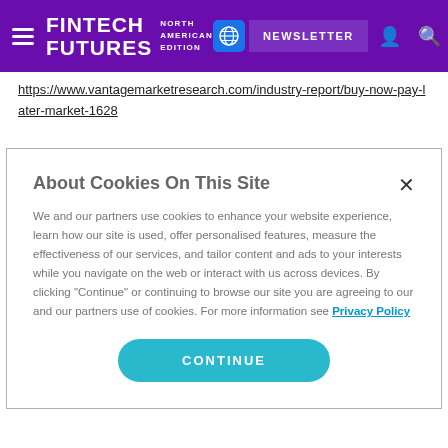FINTECH FUTURES NORTH AMERICAN EDITION — NEWSLETTER
https://www.vantagemarketresearch.com/industry-report/buy-now-pay-later-market-1628
About Cookies On This Site
We and our partners use cookies to enhance your website experience, learn how our site is used, offer personalised features, measure the effectiveness of our services, and tailor content and ads to your interests while you navigate on the web or interact with us across devices. By clicking "Continue" or continuing to browse our site you are agreeing to our and our partners use of cookies. For more information see Privacy Policy
CONTINUE